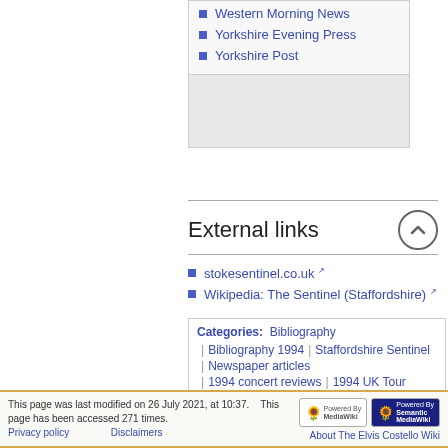Western Morning News
Yorkshire Evening Press
Yorkshire Post
External links
stokesentinel.co.uk
Wikipedia: The Sentinel (Staffordshire)
Categories: Bibliography | Bibliography 1994 | Staffordshire Sentinel | Newspaper articles | 1994 concert reviews | 1994 UK Tour
This page was last modified on 26 July 2021, at 10:37. This page has been accessed 271 times. Privacy policy About The Elvis Costello Wiki Disclaimers